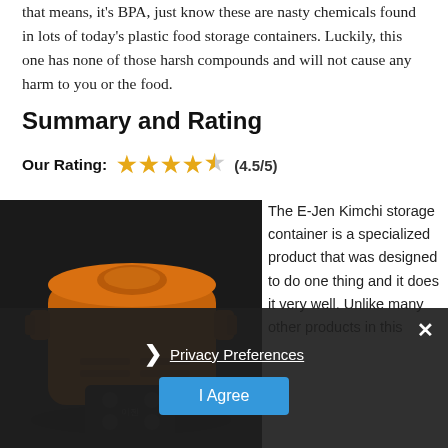that means, it's BPA, just know these are nasty chemicals found in lots of today's plastic food storage containers. Luckily, this one has none of those harsh compounds and will not cause any harm to you or the food.
Summary and Rating
Our Rating: (4.5/5)
[Figure (photo): Photo of the E-Jen Kimchi storage container, an orange/brown colored airtight plastic food container with locking clips on the sides, shown against a dark background.]
The E-Jen Kimchi storage container is a specialized product that was designed to do one thing and it does it very well. Unlike many other products in this
Privacy Preferences
I Agree